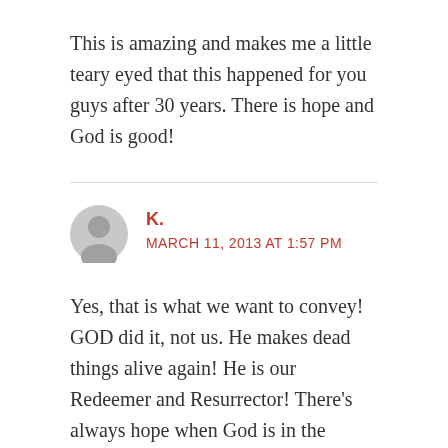This is amazing and makes me a little teary eyed that this happened for you guys after 30 years. There is hope and God is good!
K.
MARCH 11, 2013 AT 1:57 PM
Yes, that is what we want to convey! GOD did it, not us. He makes dead things alive again! He is our Redeemer and Resurrector! There's always hope when God is in the picture. Don't ever give up! Pray and trust. His timing is always, ALWAYS perfect. Wait on the Lord and let Him